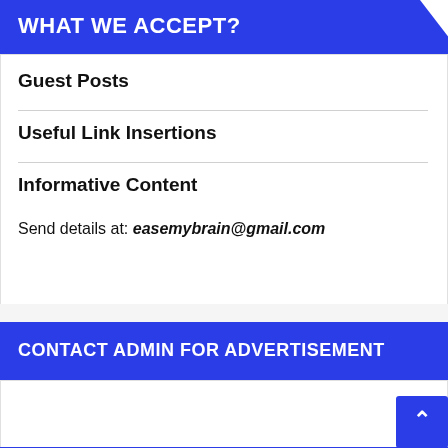WHAT WE ACCEPT?
Guest Posts
Useful Link Insertions
Informative Content
Send details at: easemybrain@gmail.com
CONTACT ADMIN FOR ADVERTISEMENT
You can reach out to the admin for any type of advertisements and sponsorship via the below email address